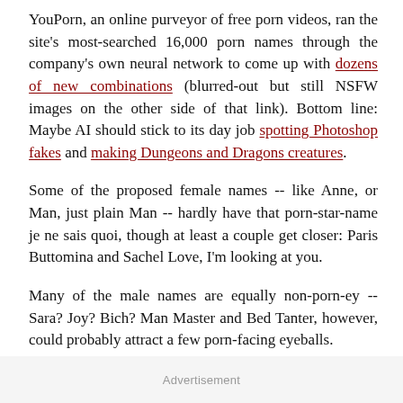YouPorn, an online purveyor of free porn videos, ran the site's most-searched 16,000 porn names through the company's own neural network to come up with dozens of new combinations (blurred-out but still NSFW images on the other side of that link). Bottom line: Maybe AI should stick to its day job spotting Photoshop fakes and making Dungeons and Dragons creatures.
Some of the proposed female names -- like Anne, or Man, just plain Man -- hardly have that porn-star-name je ne sais quoi, though at least a couple get closer: Paris Buttomina and Sachel Love, I'm looking at you.
Many of the male names are equally non-porn-ey -- Sara? Joy? Bich? Man Master and Bed Tanter, however, could probably attract a few porn-facing eyeballs.
Advertisement